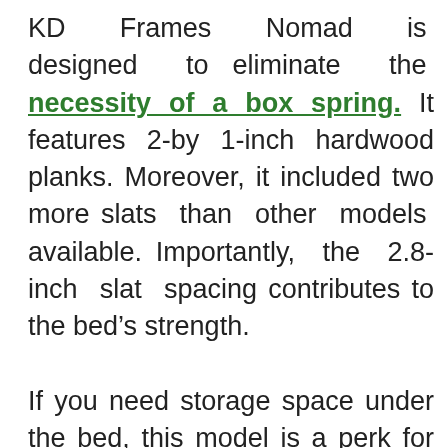KD Frames Nomad is designed to eliminate the necessity of a box spring. It features 2-by 1-inch hardwood planks. Moreover, it included two more slats than other models available. Importantly, the 2.8-inch slat spacing contributes to the bed’s strength.

If you need storage space under the bed, this model is a perk for you. It has 11.5 inches clearance, meaning you’ll have plenty of room for storage under the bed. Of course, with 15 inches high, this bed